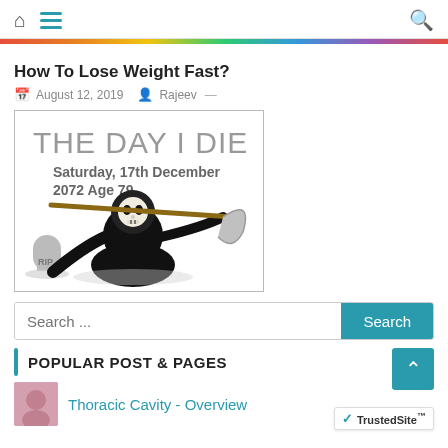Home | Menu | Search
How To Lose Weight Fast?
August 12, 2019  Rajeev —
[Figure (illustration): Illustration showing 'THE DAY I DIE' in graffiti-style text, with 'Saturday, 17th December 2072 Age 79' below, and a cartoon grim reaper with a scythe next to a gravestone marked RIP.]
Search ...
POPULAR POST & PAGES
Thoracic Cavity - Overview